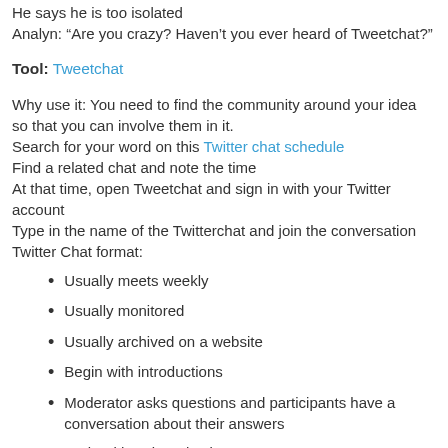He says he is too isolated
Analyn: “Are you crazy? Haven’t you ever heard of Tweetchat?”
Tool: Tweetchat
Why use it: You need to find the community around your idea so that you can involve them in it.
Search for your word on this Twitter chat schedule
Find a related chat and note the time
At that time, open Tweetchat and sign in with your Twitter account
Type in the name of the Twitterchat and join the conversation
Twitter Chat format:
Usually meets weekly
Usually monitored
Usually archived on a website
Begin with introductions
Moderator asks questions and participants have a conversation about their answers
Ends with re-introductions